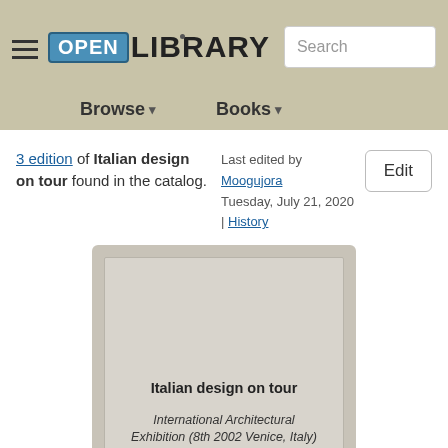Open Library — Browse / Books navigation with Search
3 edition of Italian design on tour found in the catalog.
Last edited by Moogujora
Tuesday, July 21, 2020 | History
Edit
[Figure (illustration): A book cover placeholder card showing 'Italian design on tour' as the title and 'International Architectural Exhibition (8th 2002 Venice, Italy)' as the subtitle, displayed as a grey card with rounded corners.]